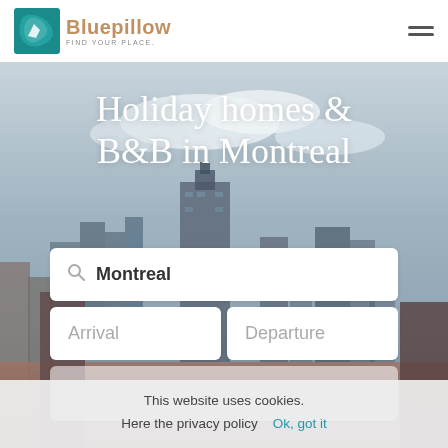[Figure (logo): Bluepillow logo with teal pillow icon and tagline FIND YOUR PLACE]
[Figure (illustration): Hamburger menu icon (two horizontal lines) in top-right corner]
[Figure (photo): Montreal city skyline background photo with blue-grey sky and city buildings]
Holiday homes & B&B in Montreal
Montreal
Arrival
Departure
2 guests
This website uses cookies.
Here the privacy policy   Ok, got it